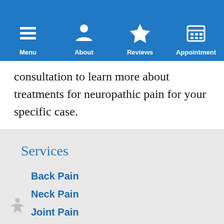[Figure (screenshot): Mobile app navigation bar with icons for Menu, About, Reviews, and Appointment on a blue background]
consultation to learn more about treatments for neuropathic pain for your specific case.
Services
Back Pain
Neck Pain
Joint Pain
Regenerative Medicine: Stem Cell &